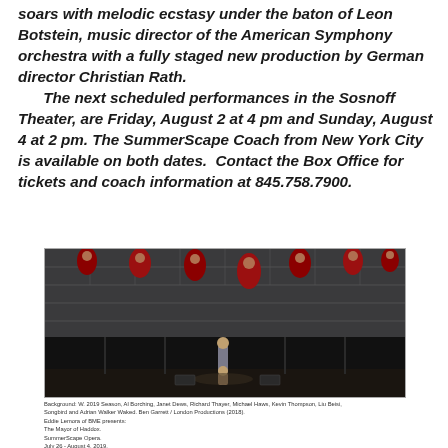soars with melodic ecstasy under the baton of Leon Botstein, music director of the American Symphony orchestra with a fully staged new production by German director Christian Rath. The next scheduled performances in the Sosnoff Theater, are Friday, August 2 at 4 pm and Sunday, August 4 at 2 pm. The SummerScape Coach from New York City is available on both dates. Contact the Box Office for tickets and coach information at 845.758.7900.
[Figure (photo): Stage production photo showing performers on a dark stone-walled set with figures in red robes in arched niches above, and two performers center stage below.]
Background: W. 2019 Season, Al Borching, Janet Dews, Richard Thayer, Michael Haws, Kevin Thompson, Liu Beisi, Songbird and Adrian Walker Waked. Ben Garrett / London Productions (2018). Eddie Lemora of BME presents: The Mayor of Haddox. SummerScape Opera. July 26 - August 4, 2019. Alexander Bernstein | July 195 1961 | Photos by Stephanie Bergen